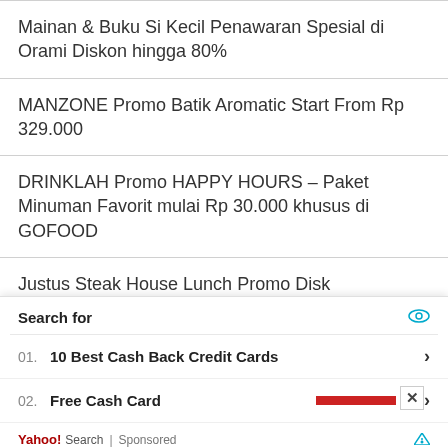Mainan & Buku Si Kecil Penawaran Spesial di Orami Diskon hingga 80%
MANZONE Promo Batik Aromatic Start From Rp 329.000
DRINKLAH Promo HAPPY HOURS – Paket Minuman Favorit mulai Rp 30.000 khusus di GOFOOD
Justus Steak House Lunch Promo Disk Kategori Menu Asian Delight, Western D Indonesian Favorite
[Figure (screenshot): Small popup overlay showing a Yahoo Search sponsored ad with search results: 01. Best Cash Back Credit Cards, 02. Free Cash Card, 03. Moving Costs Cross Country, 04. Digital Signage Display Board, 05. Best Call Center Softwares Solution Info Online. Footer: Yahoo!Search | Sponsored]
Search for
01.  10 Best Cash Back Credit Cards
02.  Free Cash Card
Yahoo! Search | Sponsored